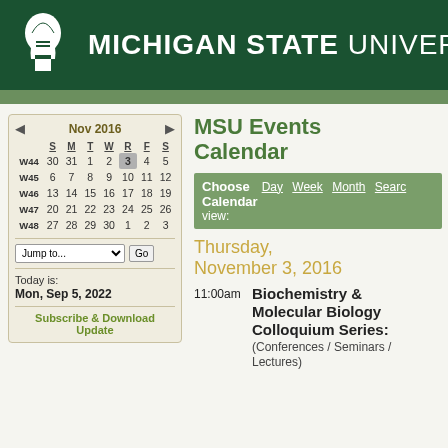MICHIGAN STATE UNIVERSITY
MSU Events Calendar
[Figure (screenshot): Mini calendar showing November 2016 with weeks W44-W48, day 3 highlighted]
Today is: Mon, Sep 5, 2022
Subscribe & Download Update
Choose Calendar view: Day Week Month Search
Thursday, November 3, 2016
11:00am  Biochemistry & Molecular Biology Colloquium Series: (Conferences / Seminars / Lectures)